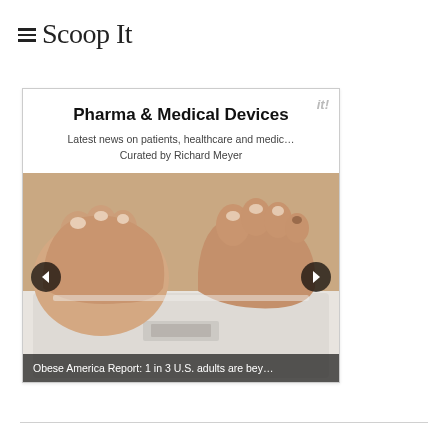Scoop It
Pharma & Medical Devices
Latest news on patients, healthcare and medic… Curated by Richard Meyer
[Figure (photo): Close-up photograph of bare feet standing on a bathroom weight scale, viewed from above, with navigation arrow buttons overlaid on the left and right sides.]
Obese America Report: 1 in 3 U.S. adults are bey…